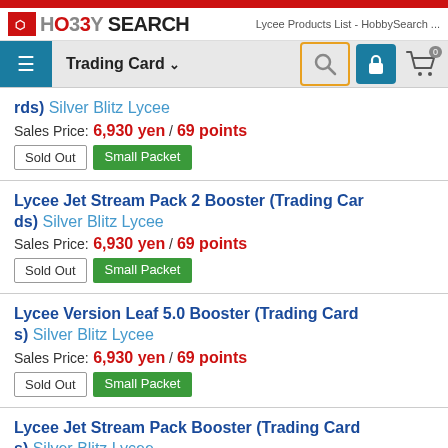Hobby Search — Trading Card — Lycee Products List
rds) Silver Blitz Lycee
Sales Price: 6,930 yen / 69 points
[Sold Out] [Small Packet]
Lycee Jet Stream Pack 2 Booster (Trading Cards) Silver Blitz Lycee
Sales Price: 6,930 yen / 69 points
[Sold Out] [Small Packet]
Lycee Version Leaf 5.0 Booster (Trading Cards) Silver Blitz Lycee
Sales Price: 6,930 yen / 69 points
[Sold Out] [Small Packet]
Lycee Jet Stream Pack Booster (Trading Cards) Silver Blitz Lycee
Sales Price: 6,930 yen / 69 points
[Sold Out] [Small Packet]
Lycee Version Minato Soft 2.0 Booster (Trading Cards) Silver Blitz Lycee